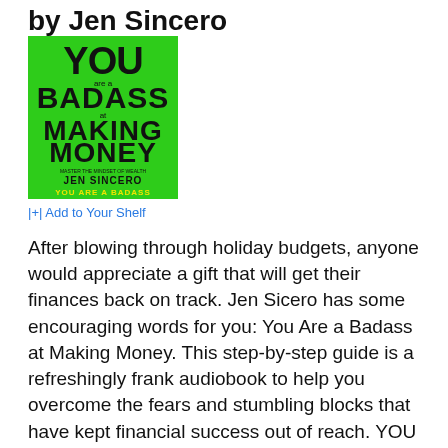by Jen Sincero
[Figure (illustration): Book cover of 'You Are a Badass at Making Money' by Jen Sincero. Green background with bold stylized text reading YOU are a BADASS at MAKING MONEY. Author name JEN SINCERO and subtitle YOU ARE A BADASS shown at bottom.]
|+| Add to Your Shelf
After blowing through holiday budgets, anyone would appreciate a gift that will get their finances back on track. Jen Sicero has some encouraging words for you: You Are a Badass at Making Money. This step-by-step guide is a refreshingly frank audiobook to help you overcome the fears and stumbling blocks that have kept financial success out of reach. YOU ARE A BADASS AT MAKING